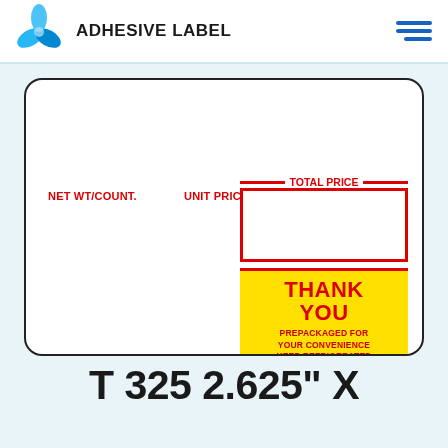[Figure (logo): Blue triangular/floral logo mark for Adhesive Label brand]
ADHESIVE LABEL
[Figure (illustration): Adhesive label product showing NET WT/COUNT, UNIT PRICE, TOTAL PRICE fields with a yellow THANK YOU box reading: PREPACKAGED FOR YOUR CONVENIENCE KEEP REFRIGERATED]
T 325 2.625" X